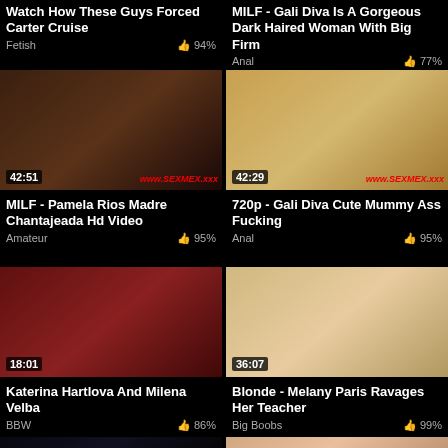Watch How These Guys Forced Carter Cruise
Fetish | 94%
MILF - Gali Diva Is A Gorgeous Dark Haired Woman With Big Firm
Anal | 77%
[Figure (screenshot): Video thumbnail 42:51, watermark www.SEXMEX.xxx]
[Figure (screenshot): Video thumbnail 42:29, watermark www.SEXMEX.xxx]
MILF - Pamela Rios Madre Chantajeada Hd Video
Amateur | 95%
720p - Gali Diva Cute Mummy Ass Fucking
Anal | 95%
[Figure (screenshot): Video thumbnail 18:01]
[Figure (screenshot): Video thumbnail 36:07]
Katerina Hartlova And Milena Velba
BBW | 86%
Blonde - Melany Paris Ravages Her Teacher
Big Boobs | 99%
[Figure (screenshot): Partial video thumbnail bottom row left]
[Figure (screenshot): Partial video thumbnail bottom row right]